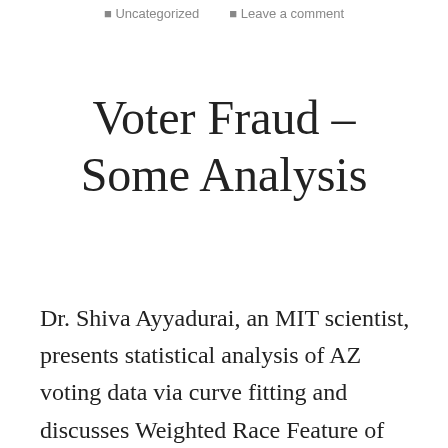Uncategorized    Leave a comment
Voter Fraud – Some Analysis
Dr. Shiva Ayyadurai, an MIT scientist, presents statistical analysis of AZ voting data via curve fitting and discusses Weighted Race Feature of machines. (Biden got 130 % of democratic votes